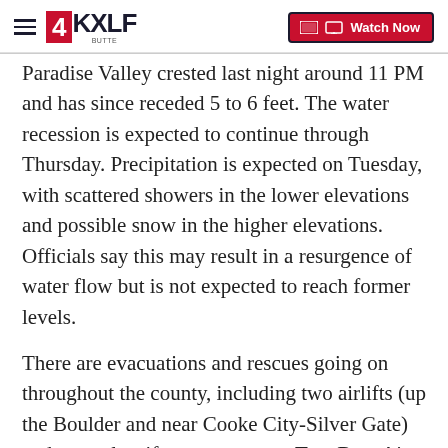4KXLF BUTTE | Watch Now
Paradise Valley crested last night around 11 PM and has since receded 5 to 6 feet. The water recession is expected to continue through Thursday. Precipitation is expected on Tuesday, with scattered showers in the lower elevations and possible snow in the higher elevations. Officials say this may result in a resurgence of water flow but is not expected to reach former levels.
There are evacuations and rescues going on throughout the county, including two airlifts (up the Boulder and near Cooke City-Silver Gate) and several swift-water rescues. Two Bear Air and the National Guard have been assisting with the air rescues. Park County Search